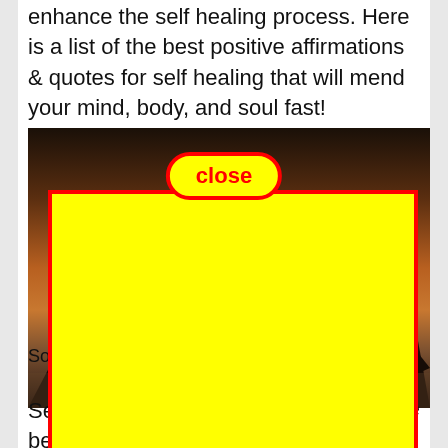enhance the self healing process. Here is a list of the best positive affirmations & quotes for self healing that will mend your mind, body, and soul fast!
[Figure (photo): A sunset or twilight mountain landscape photo with dark silhouetted mountains, warm orange and brown gradient sky, and misty fog at the base. A yellow overlay rectangle with red border covers most of the image, and a 'close' button with yellow background and red border appears at the top center of the image.]
Sour
Self 've been